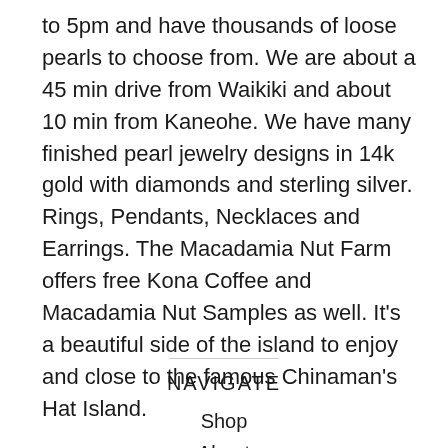to 5pm and have thousands of loose pearls to choose from. We are about a 45 min drive from Waikiki and about 10 min from Kaneohe. We have many finished pearl jewelry designs in 14k gold with diamonds and sterling silver. Rings, Pendants, Necklaces and Earrings. The Macadamia Nut Farm offers free Kona Coffee and Macadamia Nut Samples as well. It's a beautiful side of the island to enjoy and close to the famous Chinaman's Hat Island.
NAVIGATE
Shop
About